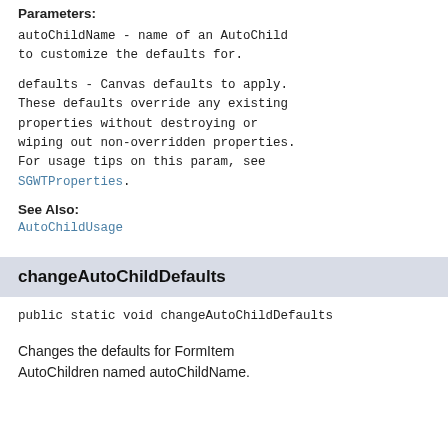Parameters:
autoChildName - name of an AutoChild to customize the defaults for.
defaults - Canvas defaults to apply. These defaults override any existing properties without destroying or wiping out non-overridden properties. For usage tips on this param, see SGWTProperties.
See Also:
AutoChildUsage
changeAutoChildDefaults
public static void changeAutoChildDefaults
Changes the defaults for FormItem AutoChildren named autoChildName.